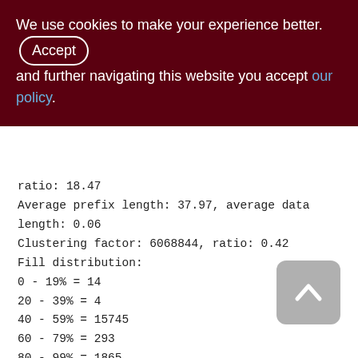We use cookies to make your experience better. By accepting and further navigating this website you accept our policy.
ratio: 18.47
Average prefix length: 37.97, average data length: 0.06
Clustering factor: 6068844, ratio: 0.42
Fill distribution:
0 - 19% = 14
20 - 39% = 4
40 - 59% = 15745
60 - 79% = 293
80 - 99% = 1865

PHRASES (145)